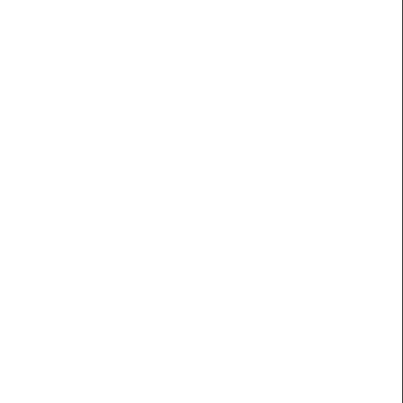ndsofdo llars to other, wronged